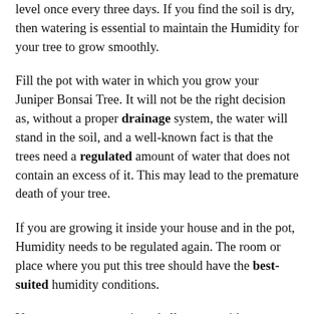level once every three days. If you find the soil is dry, then watering is essential to maintain the Humidity for your tree to grow smoothly.
Fill the pot with water in which you grow your Juniper Bonsai Tree. It will not be the right decision as, without a proper drainage system, the water will stand in the soil, and a well-known fact is that the trees need a regulated amount of water that does not contain an excess of it. This may lead to the premature death of your tree.
If you are growing it inside your house and in the pot, Humidity needs to be regulated again. The room or place where you put this tree should have the best-suited humidity conditions.
You can put your tree in a shallow tray with some water added to gravel to maintain perfect Humidity.